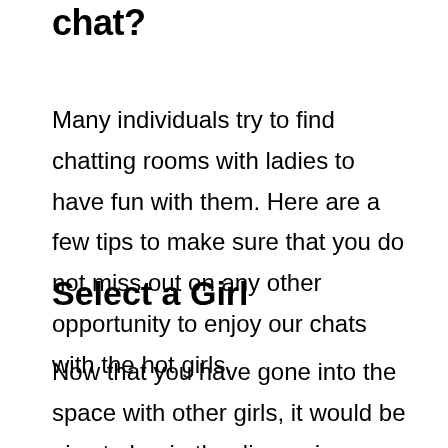chat?
Many individuals try to find chatting rooms with ladies to have fun with them. Here are a few tips to make sure that you do not miss out on any other opportunity to enjoy our chats with the hot girls.
Select a Girl
Now that you have gone into the space with other girls, it would be nice to begin the discussion. Constantly be considerate with this lady and make sure that she is